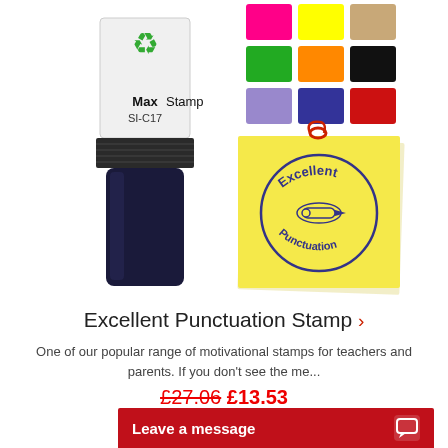[Figure (photo): MaxStamp SI-C17 self-inking stamp product photo with recycling symbol on top, black body, shown alongside color swatch grid (pink, yellow, tan, green, orange, black, lavender, navy, red) and a yellow sticky note with 'Excellent Punctuation' circular stamp impression]
Excellent Punctuation Stamp >
One of our popular range of motivational stamps for teachers and parents. If you don't see the me...
£27.06 £13.53
Save 50%
Leave a message